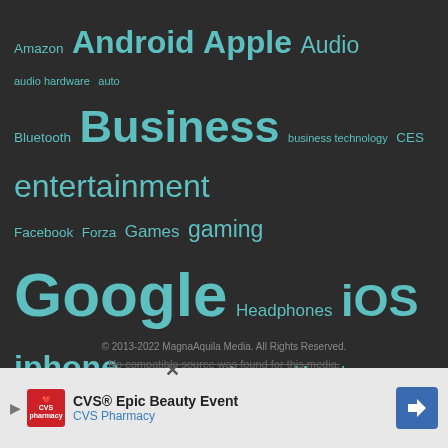[Figure (infographic): Tag cloud of technology topics on a dark background. Tags include: Amazon, Android, Apple, Audio, audio hardware, auto, Bluetooth, Business, business technology, CES, entertainment, Facebook, Forza, Games, gaming, Google, Headphones, iOS, iphone, Kickstarter, Laptop, Lenovo, Marvel, Microsoft, Mobile, movies, music, Netflix, Netflix Canada, Playstation 4, Privacy, Razer, Review, Reviews, Samsung, Security, Smartphone, Sony, Star Wars, tech, technology, TV, Windows 10, Xbox, Xbox One. Tags are displayed in varying sizes representing frequency/importance, all in teal/cyan color on dark gray background.]
© 2013-2022 MagnaAquila Media. All Rights Reserved.
No compatible source was found for this media.
[Figure (infographic): Advertisement banner for CVS Pharmacy - CVS® Epic Beauty Event]